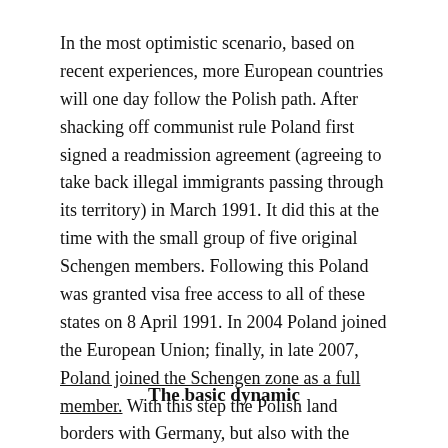In the most optimistic scenario, based on recent experiences, more European countries will one day follow the Polish path. After shacking off communist rule Poland first signed a readmission agreement (agreeing to take back illegal immigrants passing through its territory) in March 1991. It did this at the time with the small group of five original Schengen members. Following this Poland was granted visa free access to all of these states on 8 April 1991. In 2004 Poland joined the European Union; finally, in late 2007, Poland joined the Schengen zone as a full member. With this step the Polish land borders with Germany, but also with the Baltic states, became invisible.
The basic dynamic